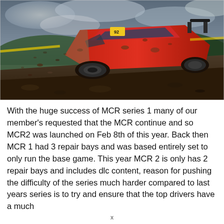[Figure (photo): A muddy red rally car (number 92) kicking up dirt on a rough off-road track, viewed from a low rear three-quarter angle, with trees and cloudy sky in the background.]
With the huge success of MCR series 1 many of our member's requested that the MCR continue and so MCR2 was launched on Feb 8th of this year. Back then MCR 1 had 3 repair bays and was based entirely set to only run the base game. This year MCR 2 is only has 2 repair bays and includes dlc content, reason for pushing the difficulty of the series much harder compared to last years series is to try and ensure that the top drivers have a much
x